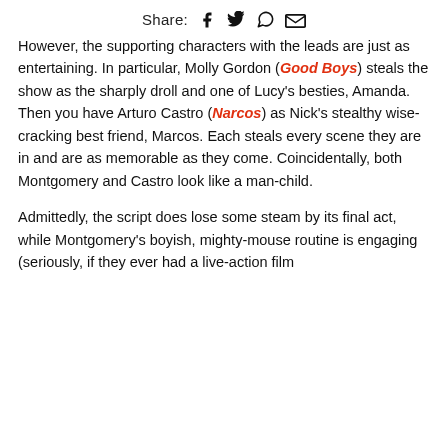Share: [facebook] [twitter] [whatsapp] [email]
However, the supporting characters with the leads are just as entertaining. In particular, Molly Gordon (Good Boys) steals the show as the sharply droll and one of Lucy's besties, Amanda. Then you have Arturo Castro (Narcos) as Nick's stealthy wise-cracking best friend, Marcos. Each steals every scene they are in and are as memorable as they come. Coincidentally, both Montgomery and Castro look like a man-child.
Admittedly, the script does lose some steam by its final act, while Montgomery's boyish, mighty-mouse routine is engaging (seriously, if they ever had a live-action film